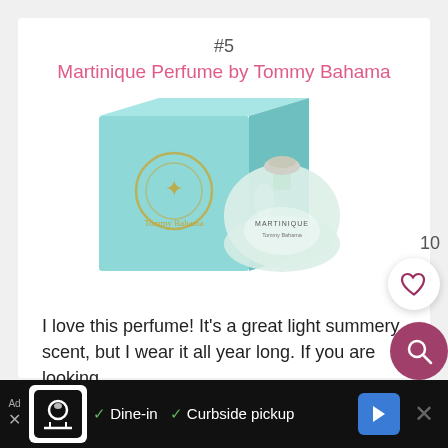#5
Martinique Perfume by Tommy Bahama
[Figure (photo): Photo of Martinique Perfume by Tommy Bahama — a light teal/mint square box with gold logo next to a dome-shaped glass perfume bottle with a flat round stopper]
I love this perfume!  It's a great light summery scent, but I wear it all year long.  If you are looking for a new perfume, this one is a must try
[Figure (other): Like/heart button showing count of 10]
[Figure (other): Search magnifying glass button (pink/magenta)]
Ad · Dine-in  Curbside pickup